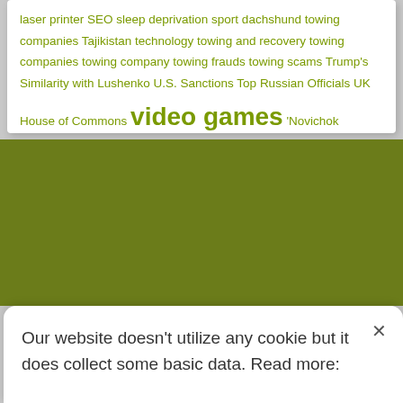laser printer SEO sleep deprivation sport dachshund towing companies Tajikistan technology towing and recovery towing companies towing company towing frauds towing scams Trump's Similarity with Lushenko U.S. Sanctions Top Russian Officials UK House of Commons video games 'Novichok
Our website doesn't utilize any cookie but it does collect some basic data. Read more: